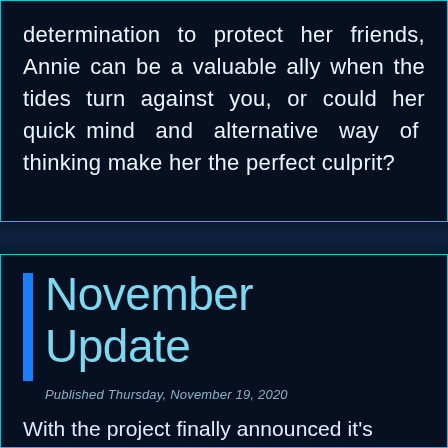determination to protect her friends, Annie can be a valuable ally when the tides turn against you, or could her quick mind and alternative way of thinking make her the perfect culprit?
November Update
Published Thursday, November 19, 2020
With the project finally announced it's time for an update on its progress...